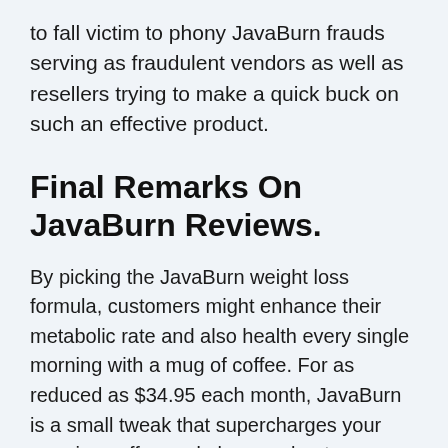to fall victim to phony JavaBurn frauds serving as fraudulent vendors as well as resellers trying to make a quick buck on such an effective product.
Final Remarks On JavaBurn Reviews.
By picking the JavaBurn weight loss formula, customers might enhance their metabolic rate and also health every single morning with a mug of coffee. For as reduced as $34.95 each month, JavaBurn is a small tweak that supercharges your morning coffee and also accelerates metabolism for quick and also trustworthy fat burning outcomes. According to the manufacturers, you can still slim down while eating your preferred